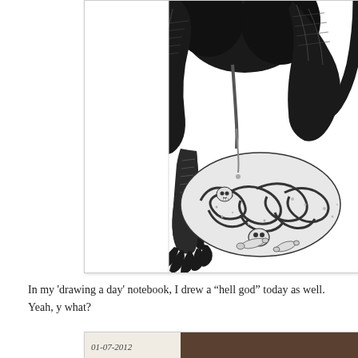[Figure (illustration): A detailed black and white ink illustration of a monstrous 'hell god' creature. The figure has large muscular arms/claws, taloned feet, and is positioned over a large pile of intestines, skulls, and bones. The style is dark fantasy/horror with heavy crosshatching.]
In my ‘drawing a day’ notebook, I drew a “hell god” today as well.  Yeah, y what?
[Figure (photo): Partial view of another image at the bottom of the page, showing what appears to be a dark surface with a date visible: 01-07-2012 or similar.]